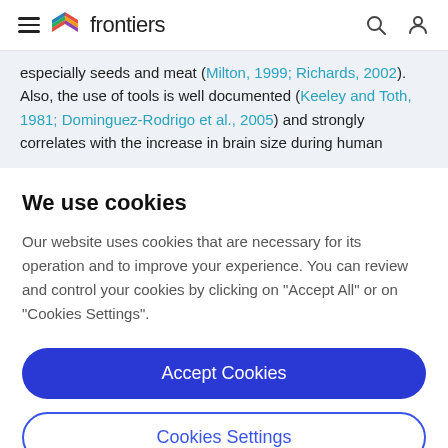frontiers
especially seeds and meat (Milton, 1999; Richards, 2002). Also, the use of tools is well documented (Keeley and Toth, 1981; Dominguez-Rodrigo et al., 2005) and strongly correlates with the increase in brain size during human
We use cookies
Our website uses cookies that are necessary for its operation and to improve your experience. You can review and control your cookies by clicking on "Accept All" or on "Cookies Settings".
Accept Cookies
Cookies Settings